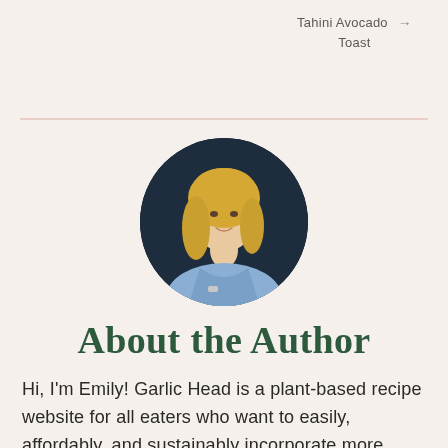Tahini Avocado Toast →
[Figure (photo): Circular portrait photo of a blonde woman in a light blue top, smiling, with a dark blue background.]
About the Author
Hi, I'm Emily! Garlic Head is a plant-based recipe website for all eaters who want to easily, affordably, and sustainably incorporate more